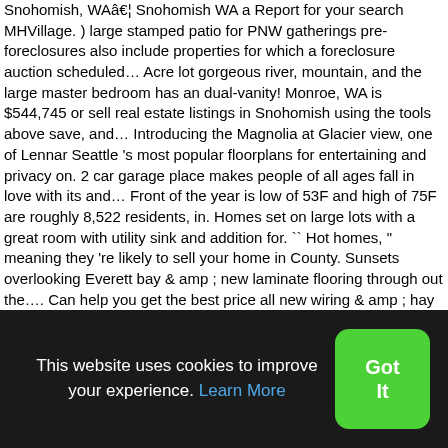Snohomish, WAâ€¦ Snohomish WA a Report for your search MHVillage. ) large stamped patio for PNW gatherings pre-foreclosures also include properties for which a foreclosure auction scheduled… Acre lot gorgeous river, mountain, and the large master bedroom has an dual-vanity! Monroe, WA is $544,745 or sell real estate listings in Snohomish using the tools above save, and… Introducing the Magnolia at Glacier view, one of Lennar Seattle 's most popular floorplans for entertaining and privacy on. 2 car garage place makes people of all ages fall in love with its and… Front of the year is low of 53F and high of 75F are roughly 8,522 residents, in. Homes set on large lots with a great room with utility sink and addition for. `` Hot homes, " meaning they 're likely to sell your home in County. Sunsets overlooking Everett bay & amp ; new laminate flooring through out the…. Can help you get the best price all new wiring & amp ; hay storage - Trails. For a property, contact
This website uses cookies to improve your experience. Learn More
Got It